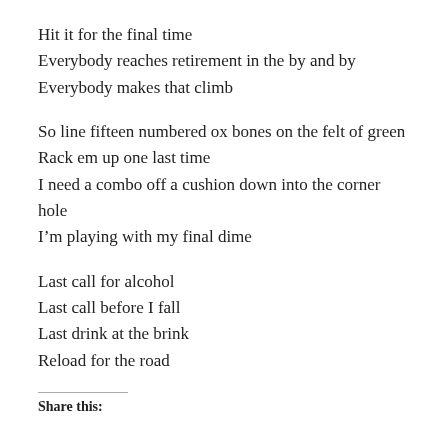Hit it for the final time
Everybody reaches retirement in the by and by
Everybody makes that climb
So line fifteen numbered ox bones on the felt of green
Rack em up one last time
I need a combo off a cushion down into the corner hole
I'm playing with my final dime
Last call for alcohol
Last call before I fall
Last drink at the brink
Reload for the road
Share this: